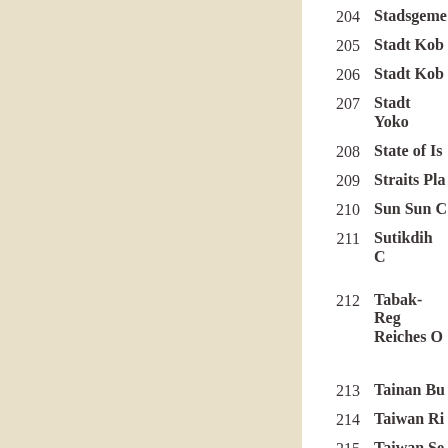204  Stadsgeme...
205  Stadt Kob...
206  Stadt Kob...
207  Stadt Yoko...
208  State of Is...
209  Straits Pla...
210  Sun Sun C...
211  Sutikdih C...
212  Tabak-Reg... / Reiches O...
213  Tainan Bu...
214  Taiwan Ri...
215  Taiwan Se... / Zucker AC...
216  Tata Iron...
217  Tejerat Mu...
218  Texpick In...
219  Tien-Yan...